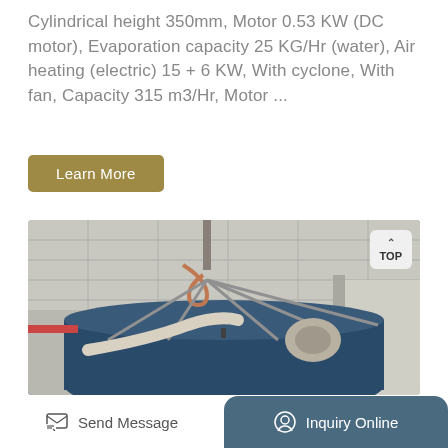Cylindrical height 350mm, Motor 0.53 KW (DC motor), Evaporation capacity 25 KG/Hr (water), Air heating (electric) 15 + 6 KW, With cyclone, With fan, Capacity 315 m3/Hr, Motor ...
Learn More
[Figure (photo): Industrial photograph showing a large blue cylindrical tank or drum being lifted by a crane inside a factory/warehouse. Metal support frames and cables are visible. The ceiling of the industrial building with steel trusses is visible above.]
TOP
Send Message
Inquiry Online